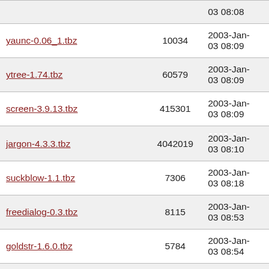| Name | Size | Date |
| --- | --- | --- |
|  |  | 03 08:08 |
| yaunc-0.06_1.tbz | 10034 | 2003-Jan-03 08:09 |
| ytree-1.74.tbz | 60579 | 2003-Jan-03 08:09 |
| screen-3.9.13.tbz | 415301 | 2003-Jan-03 08:09 |
| jargon-4.3.3.tbz | 4042019 | 2003-Jan-03 08:10 |
| suckblow-1.1.tbz | 7306 | 2003-Jan-03 08:18 |
| freedialog-0.3.tbz | 8115 | 2003-Jan-03 08:53 |
| goldstr-1.6.0.tbz | 5784 | 2003-Jan-03 08:54 |
| colortail-0.3.0.tbz | 14395 | 2003-Jan-03 08:55 |
| argparse-1.0.1.tbz | 10296 | 2003-Jan-03 08:58 |
| edonkey-tool-hash-0.3.2.tbz | 7854 | 2003-Jan-03 09:06 |
| most-4.9.2.tbz | 40078 | 2003-Jan-03 09:08 |